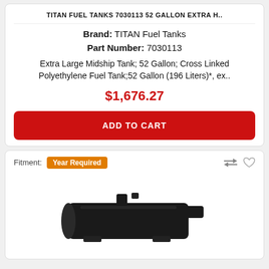TITAN FUEL TANKS 7030113 52 GALLON EXTRA H..
Brand: TITAN Fuel Tanks
Part Number: 7030113
Extra Large Midship Tank; 52 Gallon; Cross Linked Polyethylene Fuel Tank;52 Gallon (196 Liters)*, ex..
$1,676.27
ADD TO CART
Fitment: Year Required
[Figure (photo): Photo of a black plastic fuel tank product]